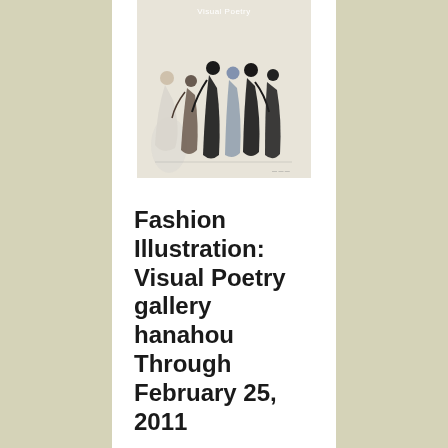[Figure (illustration): Fashion illustration artwork showing stylized elongated figures in black, white and grey tones. Text 'Visual Poetry' appears at the top of the image.]
Fashion Illustration: Visual Poetry gallery hanahou Through February 25, 2011
Curated by renowned artist